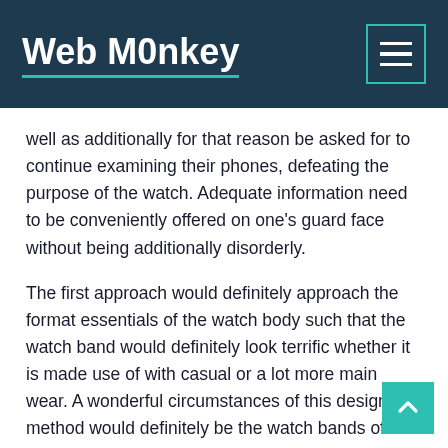Web M0nkey
well as additionally for that reason be asked for to continue examining their phones, defeating the purpose of the watch. Adequate information need to be conveniently offered on one’s guard face without being additionally disorderly.
The first approach would definitely approach the format essentials of the watch body such that the watch band would definitely look terrific whether it is made use of with casual or a lot more main wear. A wonderful circumstances of this design method would definitely be the watch bands of the Rep watch. Consisting of a microphone to your smartwatch to allow hands-free (well sort of) calling from your wat… would absolutely recommend that the watch would